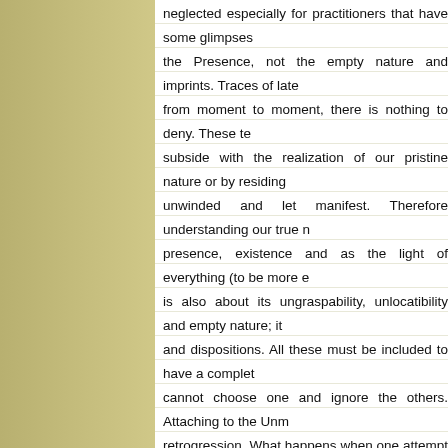neglected especially for practitioners that have some glimpses of the Presence, not the empty nature and imprints. Traces of late from moment to moment, there is nothing to deny. These te subside with the realization of our pristine nature or by residing unwinded and let manifest. Therefore understanding our true n presence, existence and as the light of everything (to be more e is also about its ungraspability, unlocatibility and empty nature; it and dispositions. All these must be included to have a complet cannot choose one and ignore the others. Attaching to the Unm retrogression. What happens when one attempt to grasp the u leaving traces and imprints. :-)
Labels: John Tan, Karmic Tendencies |
2 Responses
balajit
Apr 22, 2009, 12:35:00 AM
thank you for this. i think unless we work through (or unwind) what remai partly embodied.